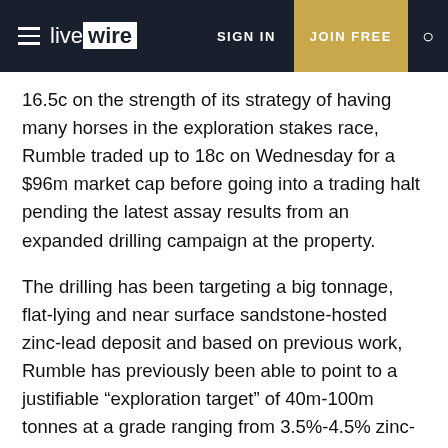live wire | SIGN IN | JOIN FREE
16.5c on the strength of its strategy of having many horses in the exploration stakes race, Rumble traded up to 18c on Wednesday for a $96m market cap before going into a trading halt pending the latest assay results from an expanded drilling campaign at the property.
The drilling has been targeting a big tonnage, flat-lying and near surface sandstone-hosted zinc-lead deposit and based on previous work, Rumble has previously been able to point to a justifiable “exploration target” of 40m-100m tonnes at a grade ranging from 3.5%-4.5% zinc-lead.
The buzz is that the latest drill results suggest that the upper end of the exploration target – if not more – is